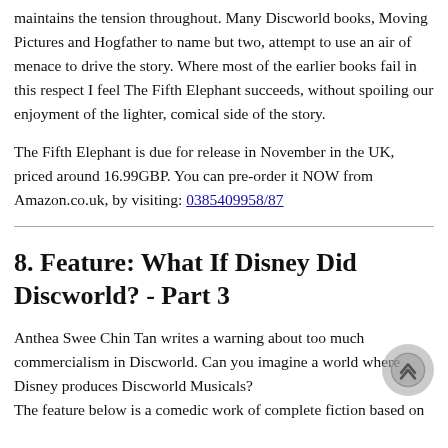maintains the tension throughout. Many Discworld books, Moving Pictures and Hogfather to name but two, attempt to use an air of menace to drive the story. Where most of the earlier books fail in this respect I feel The Fifth Elephant succeeds, without spoiling our enjoyment of the lighter, comical side of the story.
The Fifth Elephant is due for release in November in the UK, priced around 16.99GBP. You can pre-order it NOW from Amazon.co.uk, by visiting: 0385409958/87
8. Feature: What If Disney Did Discworld? - Part 3
Anthea Swee Chin Tan writes a warning about too much commercialism in Discworld. Can you imagine a world where Disney produces Discworld Musicals?
The feature below is a comedic work of complete fiction based on